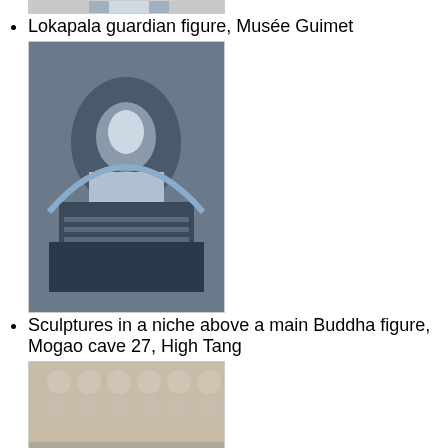Lokapala guardian figure, Musée Guimet
[Figure (photo): Lokapala guardian figure, Musée Guimet — partial image at top]
[Figure (photo): Sculptures in a niche above a main Buddha figure, Mogao cave 27, High Tang]
Sculptures in a niche above a main Buddha figure, Mogao cave 27, High Tang
[Figure (photo): Reclining Buddha in cave 148, second largest reclining figure in Mogao. High Tang period.]
Reclining Buddha in cave 148, second largest reclining figure in Mogao. High Tang period.
[Figure (photo): A fresco showing the style of architecture of the Tang dynasty]
A fresco shows the style of architecture of the Tang dynasty.
[Figure (photo): Another fresco — partial image at bottom]